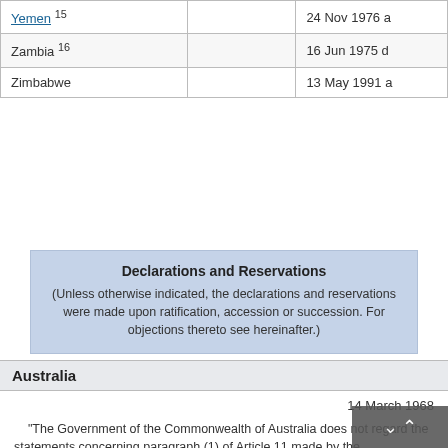|  |  |  |
| --- | --- | --- |
| Yemen 15 |  | 24 Nov 1976 a |
| Zambia 16 |  | 16 Jun 1975 d |
| Zimbabwe |  | 13 May 1991 a |
Declarations and Reservations
(Unless otherwise indicated, the declarations and reservations were made upon ratification, accession or succession. For objections thereto see hereinafter.)
Australia
14 March 1968
"The Government of the Commonwealth of Australia does not regard the statements concerning paragraph (1) of Article 11 made by the Byelorussian Soviet Socialist Republic, the Ukrainian Soviet Socialist Republic, the Union of Soviet Socialist Republics and the Mongolia...